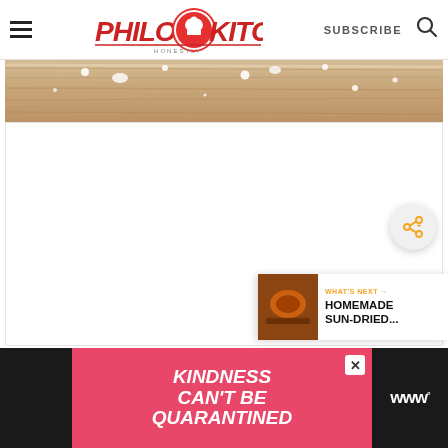Philos Kitchen — SUBSCRIBE [search icon]
[Figure (photo): Partial view of a wooden surface (floor or table) with white salt/snow specks scattered on it. Light wood grain texture visible.]
[Figure (photo): Large blank/white content area — main article body area with no visible content loaded]
[Figure (other): Share button — circular grey button with share icon (dot-and-lines network symbol) in bottom-right area]
[Figure (other): What's Next panel showing thumbnail of food image and text 'WHAT'S NEXT → HOMEMADE SUN-DRIED...']
[Figure (other): Advertisement bar at bottom: pink/red background with text 'KINDNESS CAN'T BE QUARANTINED', close X button, black flanking sections with 'www' text on right]